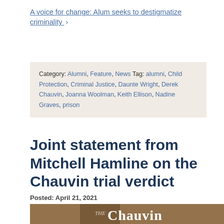A voice for change: Alum seeks to destigmatize criminality ›
Category: Alumni, Feature, News Tag: alumni, Child Protection, Criminal Justice, Daunte Wright, Derek Chauvin, Joanna Woolman, Keith Ellison, Nadine Graves, prison
Joint statement from Mitchell Hamline on the Chauvin trial verdict
Posted: April 21, 2021
[Figure (photo): Hero image showing scales of justice with text overlay reading 'THE Chauvin' in white serif font against a blurred courtroom background]